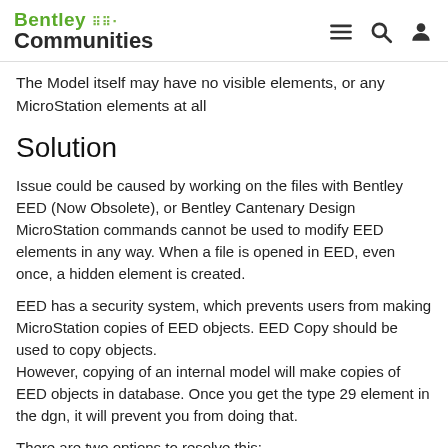Bentley Communities
The Model itself may have no visible elements, or any MicroStation elements at all
Solution
Issue could be caused by working on the files with Bentley EED (Now Obsolete), or Bentley Cantenary Design
MicroStation commands cannot be used to modify EED elements in any way. When a file is opened in EED, even once, a hidden element is created.
EED has a security system, which prevents users from making MicroStation copies of EED objects. EED Copy should be used to copy objects.
However, copying of an internal model will make copies of EED objects in database. Once you get the type 29 element in the dgn, it will prevent you from doing that.
There are two options to resolve this: